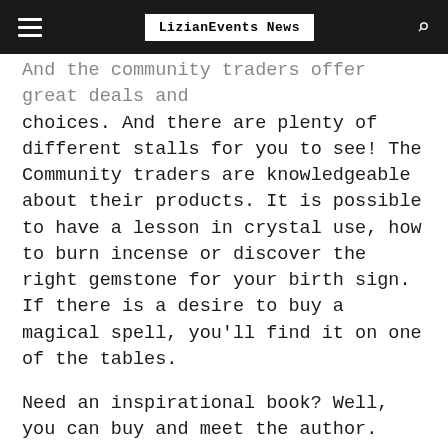LizianEvents News
And the community traders offer great deals and choices. And there are plenty of different stalls for you to see! The Community traders are knowledgeable about their products. It is possible to have a lesson in crystal use, how to burn incense or discover the right gemstone for your birth sign. If there is a desire to buy a magical spell, you'll find it on one of the tables.
Need an inspirational book? Well, you can buy and meet the author. Nothing is better than reading through the pages and thinking, 'I know the writer and understand the message better.'
This time around, there is an opportunity to purchase a bottle of wine or a delicious specialist cake, and of course, the free trade chocolate is